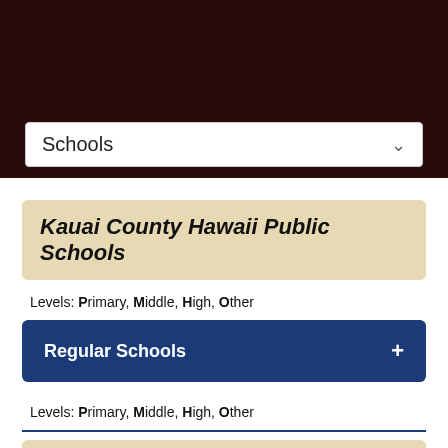[Figure (screenshot): Dark maroon header background with a Schools dropdown selector]
Schools
Kauai County Hawaii Public Schools
Levels: Primary, Middle, High, Other
Regular Schools +
Levels: Primary, Middle, High, Other
Kauai County Hawaii Private Schools